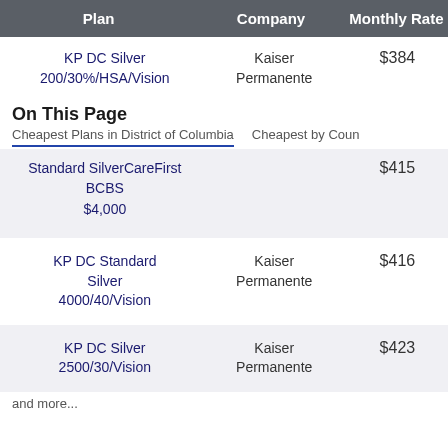| Plan | Company | Monthly Rate |
| --- | --- | --- |
| KP DC Silver 2000/30%/HSA/Vision | Kaiser Permanente | $384 |
| Standard Silver $4,000 | CareFirst BCBS | $415 |
| KP DC Standard Silver 4000/40/Vision | Kaiser Permanente | $416 |
| KP DC Silver 2500/30/Vision | Kaiser Permanente | $423 |
On This Page
Cheapest Plans in District of Columbia    Cheapest by County
and more...